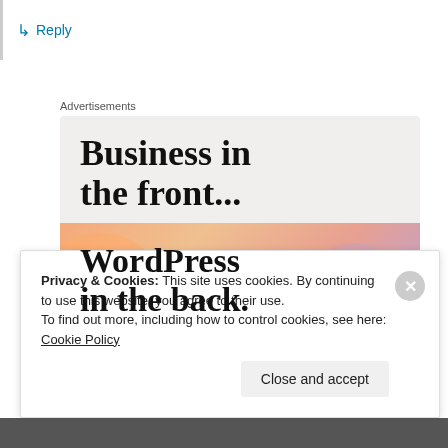↳ Reply
Advertisements
[Figure (screenshot): Advertisement banner showing 'Business in the front...' text on a light gray background, with a colorful gradient section below showing 'WordPress in the back.' text on an orange/pink/purple gradient with circular blob shapes.]
Privacy & Cookies: This site uses cookies. By continuing to use this website, you agree to their use.
To find out more, including how to control cookies, see here: Cookie Policy
Close and accept